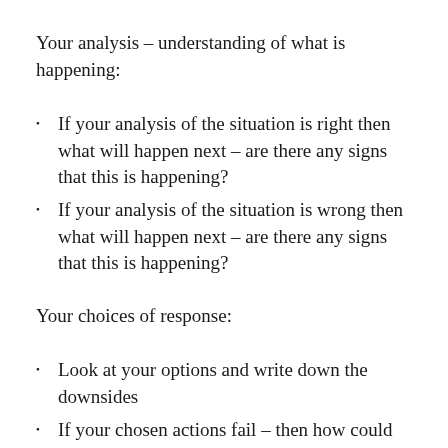Your analysis – understanding of what is happening:
If your analysis of the situation is right then what will happen next – are there any signs that this is happening?
If your analysis of the situation is wrong then what will happen next – are there any signs that this is happening?
Your choices of response:
Look at your options and write down the downsides
If your chosen actions fail – then how could